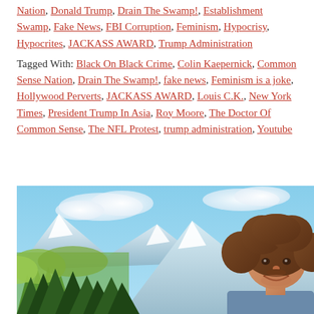Nation, Donald Trump, Drain The Swamp!, Establishment Swamp, Fake News, FBI Corruption, Feminism, Hypocrisy, Hypocrites, JACKASS AWARD, Trump Administration
Tagged With: Black On Black Crime, Colin Kaepernick, Common Sense Nation, Drain The Swamp!, fake news, Feminism is a joke, Hollywood Perverts, JACKASS AWARD, Louis C.K., New York Times, President Trump In Asia, Roy Moore, The Doctor Of Common Sense, The NFL Protest, trump administration, Youtube
[Figure (photo): Photo of a man with an afro hairstyle smiling, with a painted mountain landscape background featuring snow-capped peaks, green trees, and blue sky with clouds.]